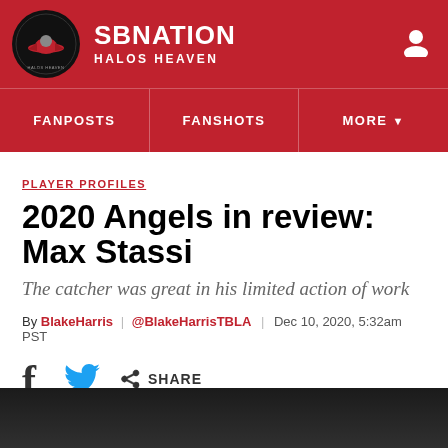SBNATION HALOS HEAVEN
FANPOSTS | FANSHOTS | MORE
PLAYER PROFILES
2020 Angels in review: Max Stassi
The catcher was great in his limited action of work
By BlakeHarris | @BlakeHarrisTBLA | Dec 10, 2020, 5:32am PST
SHARE